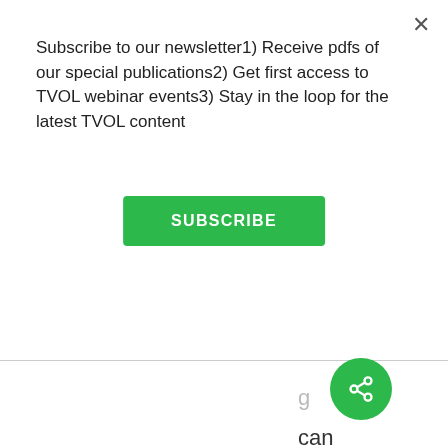Subscribe to our newsletter1) Receive pdfs of our special publications2) Get first access to TVOL webinar events3) Stay in the loop for the latest TVOL content
[Figure (other): Green SUBSCRIBE button]
g can account for the popularity of one candidate over another
[Figure (other): Green circular share/social button with network icon]